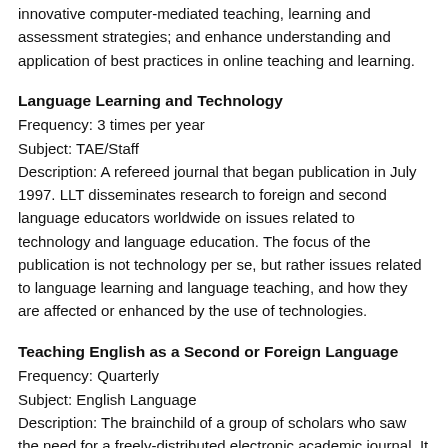innovative computer-mediated teaching, learning and assessment strategies; and enhance understanding and application of best practices in online teaching and learning.
Language Learning and Technology
Frequency: 3 times per year
Subject: TAE/Staff
Description: A refereed journal that began publication in July 1997. LLT disseminates research to foreign and second language educators worldwide on issues related to technology and language education. The focus of the publication is not technology per se, but rather issues related to language learning and language teaching, and how they are affected or enhanced by the use of technologies.
Teaching English as a Second or Foreign Language
Frequency: Quarterly
Subject: English Language
Description: The brainchild of a group of scholars who saw the need for a freely-distributed electronic academic journal. It has grown to become an internationally-recognized source of ESL and EFL information for people in scores of countries.